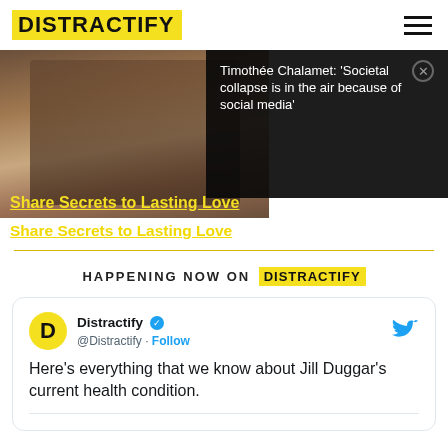DISTRACTIFY
[Figure (photo): Two people leaning close together outdoors, with an ad overlay showing Timothée Chalamet quote about social media]
Timothée Chalamet: 'Societal collapse is in the air because of social media'
Share Secrets to Lasting Love
HAPPENING NOW ON DISTRACTIFY
Distractify @Distractify · Follow
Here's everything that we know about Jill Duggar's current health condition.